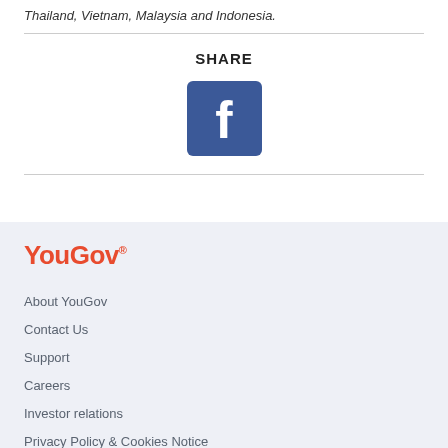Thailand, Vietnam, Malaysia and Indonesia.
SHARE
[Figure (logo): Facebook logo icon — blue square with white 'f' letter]
[Figure (logo): YouGov logo in orange-red text]
About YouGov
Contact Us
Support
Careers
Investor relations
Privacy Policy & Cookies Notice